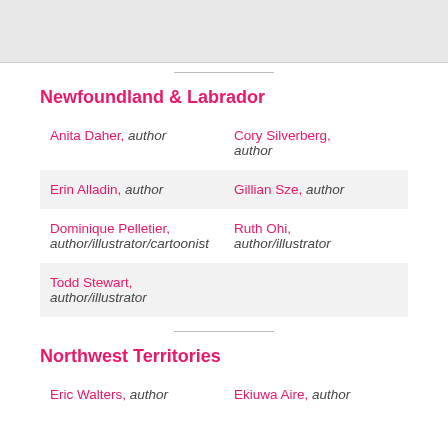Newfoundland & Labrador
| Anita Daher, author | Cory Silverberg, author |
| Erin Alladin, author | Gillian Sze, author |
| Dominique Pelletier, author/illustrator/cartoonist | Ruth Ohi, author/illustrator |
| Todd Stewart, author/illustrator |  |
Northwest Territories
| Eric Walters, author | Ekiuwa Aire, author |